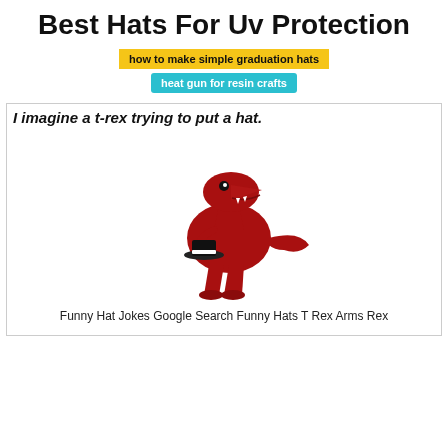Best Hats For Uv Protection
how to make simple graduation hats
heat gun for resin crafts
[Figure (illustration): A card with a bold italic heading 'I imagine a t-rex trying to put a hat.' and a cartoon illustration of a red T-Rex dinosaur holding a black and white hat with its tiny arms.]
Funny Hat Jokes Google Search Funny Hats T Rex Arms Rex